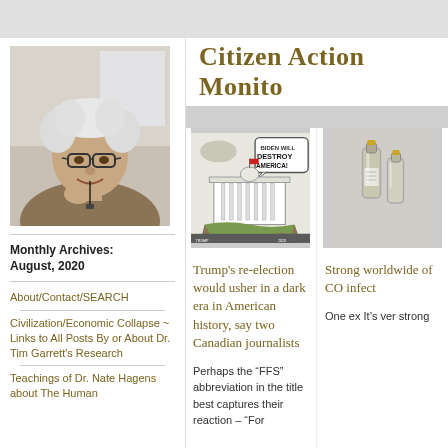Citizen Action Monitor
[Figure (photo): Portrait photo of an elderly man with white curly hair and glasses, smiling, resting chin on hand]
Monthly Archives:
August, 2020
About/Contact/SEARCH
Civilization/Economic Collapse ~ Links to All Posts By or About Dr. Tim Garrett's Research
Teachings of Dr. Nate Hagens about The Human
[Figure (illustration): Editorial cartoon of the White House on a crumbling cliff edge with speech bubble saying 'BIDEN WILL DESTROY AMERICA!']
Trump's re-election would usher in a dark era in American history, say two Canadian journalists
Perhaps the “FFS” abbreviation in the title best captures their reaction – “For
[Figure (photo): Partial photo of medical vials or syringes]
Strong worldwide of CO infect
One ex It’s ver strong